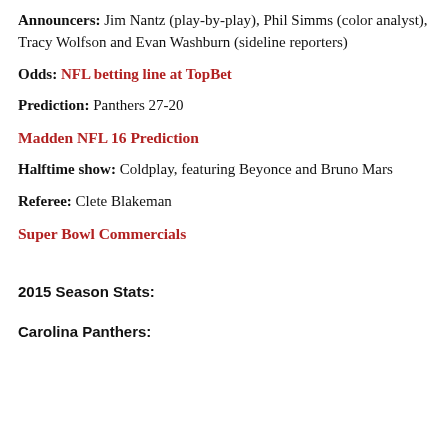Announcers: Jim Nantz (play-by-play), Phil Simms (color analyst), Tracy Wolfson and Evan Washburn (sideline reporters)
Odds: NFL betting line at TopBet
Prediction: Panthers 27-20
Madden NFL 16 Prediction
Halftime show: Coldplay, featuring Beyonce and Bruno Mars
Referee: Clete Blakeman
Super Bowl Commercials
2015 Season Stats:
Carolina Panthers: